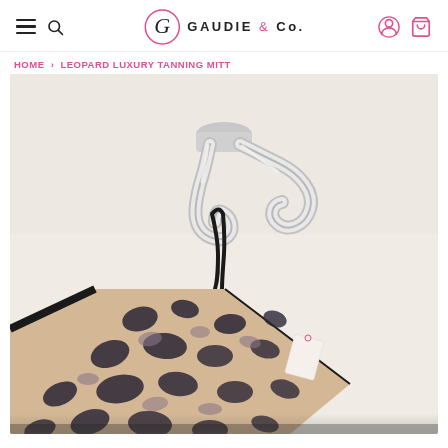GAUDIE & Co. — navigation header with hamburger menu, search, logo, account and cart icons
HOME › LEOPARD LUXURY TANNING MITT
[Figure (photo): Close-up photo of a leopard print luxury tanning mitt hanging from a shiny chrome double hook mounted on a white wall. The mitt has a black border edge and a loop strap. The leopard print features dark brown/black spots on a beige/peach background.]